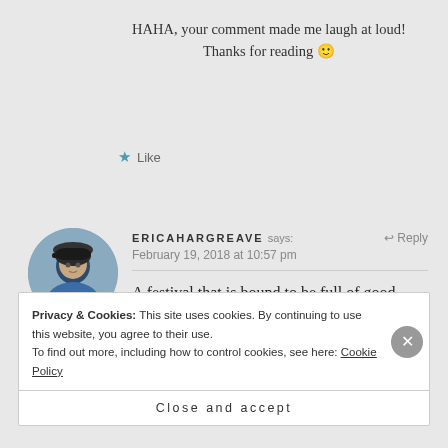HAHA, your comment made me laugh at loud! Thanks for reading 🙂
★ Like
ERICAHARGREAVE says:
February 19, 2018 at 10:57 pm
↩ Reply
A festival that is bound to be full of good stories.
Privacy & Cookies: This site uses cookies. By continuing to use this website, you agree to their use.
To find out more, including how to control cookies, see here: Cookie Policy
Close and accept